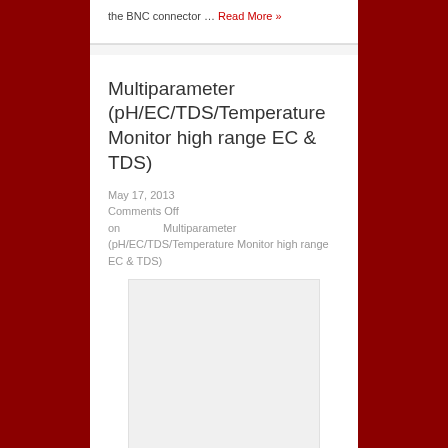the BNC connector … Read More »
Multiparameter (pH/EC/TDS/Temperature Monitor high range EC & TDS)
May 17, 2013
Comments Off on Multiparameter (pH/EC/TDS/Temperature Monitor high range EC & TDS)
[Figure (photo): Empty image placeholder box]